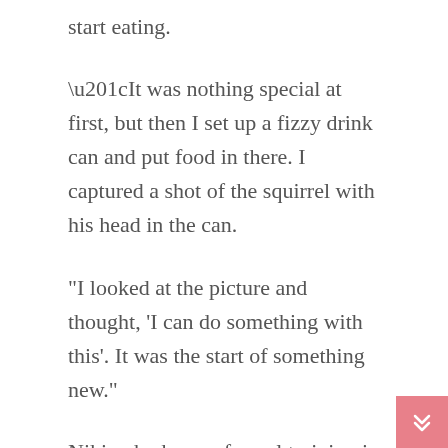start eating.
“It was nothing special at first, but then I set up a fizzy drink can and put food in there. I captured a shot of the squirrel with his head in the can.
“I looked at the picture and thought, ‘I can do something with this’. It was the start of something new.”
Niki, who has no formal training in photography, took a few tips from friends about how to capture the perfect shot, and bought some new equipment to enhance the photos.